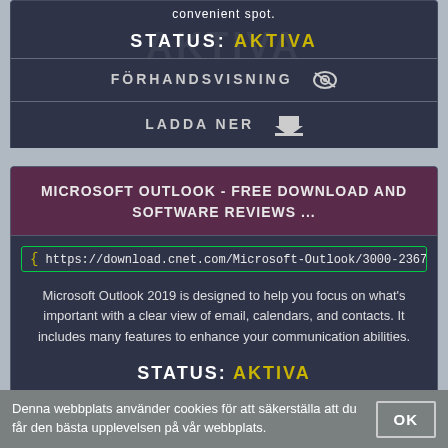convenient spot.
STATUS: AKTIVA
FÖRHANDSVISNING
LADDA NER
MICROSOFT OUTLOOK - FREE DOWNLOAD AND SOFTWARE REVIEWS ...
https://download.cnet.com/Microsoft-Outlook/3000-2367_4-76475707.ht
Microsoft Outlook 2019 is designed to help you focus on what's important with a clear view of email, calendars, and contacts. It includes many features to enhance your communication abilities.
STATUS: AKTIVA
Denna webbplats använder cookies för att säkerställa att du får den bästa upplevelsen på vår webbplats.